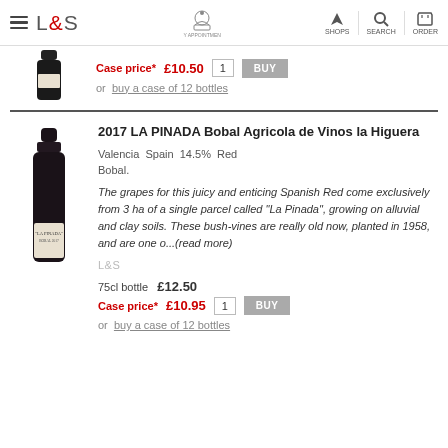L&S | SHOPS | SEARCH | ORDER
Case price* £10.50
or buy a case of 12 bottles
2017 LA PINADA Bobal Agricola de Vinos la Higuera
Valencia Spain 14.5% Red Bobal.
The grapes for this juicy and enticing Spanish Red come exclusively from 3 ha of a single parcel called "La Pinada", growing on alluvial and clay soils. These bush-vines are really old now, planted in 1958, and are one o...(read more)
L&S
75cl bottle £12.50
Case price* £10.95
or buy a case of 12 bottles